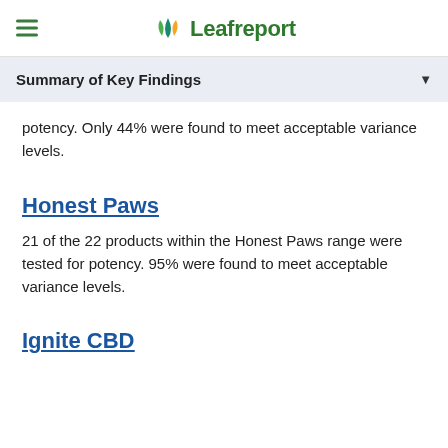Leafreport
Summary of Key Findings
potency. Only 44% were found to meet acceptable variance levels.
Honest Paws
21 of the 22 products within the Honest Paws range were tested for potency. 95% were found to meet acceptable variance levels.
Ignite CBD